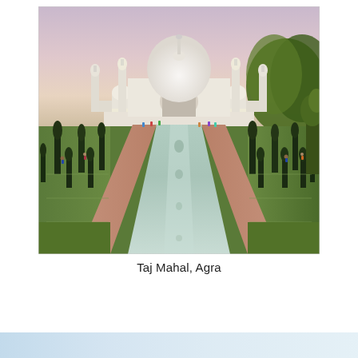[Figure (photo): Photograph of the Taj Mahal in Agra, India. The iconic white marble mausoleum with its large central dome and four minarets is centered in the background against a pink-purple sunset sky. A long rectangular reflecting pool runs down the center foreground, flanked by green gardens with tall dark cypress trees and red sandstone pathways. Visitors are visible near the monument. Trees border the right side.]
Taj Mahal, Agra